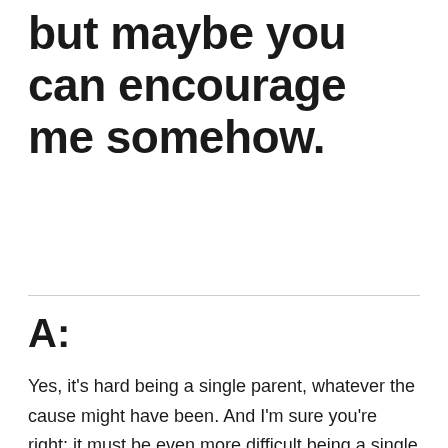but maybe you can encourage me somehow.
A:
Yes, it's hard being a single parent, whatever the cause might have been. And I'm sure you're right; it must be even more difficult being a single father. One reason I wanted to reprint your letter is because I hope it will make us more sensitive to the difficulties single parents face.